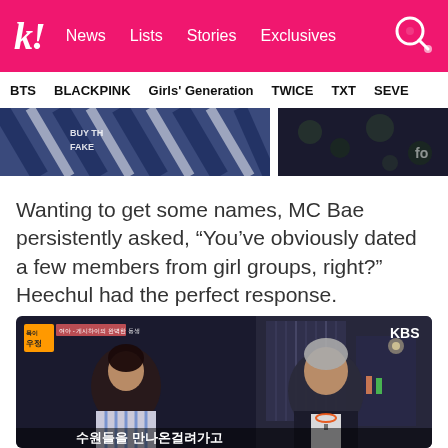k! News  Lists  Stories  Exclusives
BTS  BLACKPINK  Girls' Generation  TWICE  TXT  SEVE
[Figure (photo): Two partial images side by side: left shows a blue/white striped fabric with text 'BUY THE FAKE', right shows dark floral patterned fabric]
Wanting to get some names, MC Bae persistently asked, “You’ve obviously dated a few members from girl groups, right?” Heechul had the perfect response.
[Figure (photo): KBS TV show screenshot showing two men sitting and talking. Korean text overlay reads: 목이 우정 badge and subtitle text in Korean at bottom. KBS logo visible top right.]